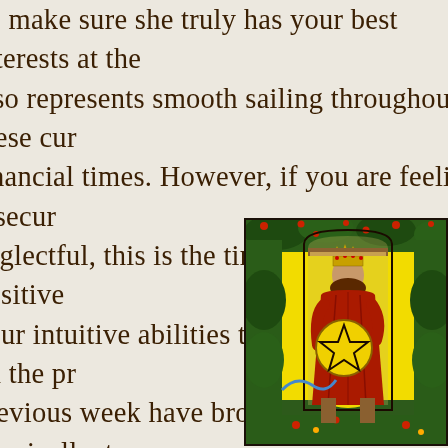do make sure she truly has your best interests at the also represents smooth sailing throughout these cur financial times. However, if you are feeling insecur neglectful, this is the time to channel more positive your intuitive abilities to move forward. If all the pr previous week have brought you down physically, t your health will start to improve.
[Figure (illustration): Tarot card illustration of the Queen of Pentacles: a crowned queen in red robes sitting on a throne, holding a large pentacle coin, surrounded by lush green foliage, flowers, and a yellow/bright background.]